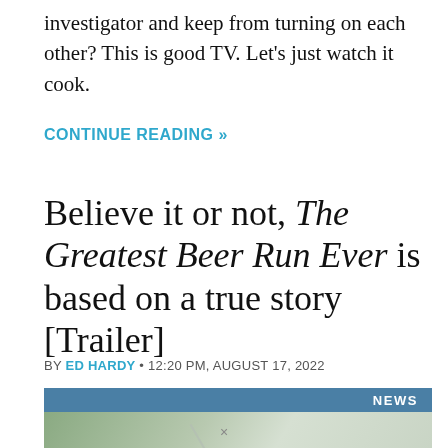investigator and keep from turning on each other? This is good TV. Let's just watch it cook.
CONTINUE READING »
Believe it or not, The Greatest Beer Run Ever is based on a true story [Trailer]
BY ED HARDY • 12:20 PM, AUGUST 17, 2022
[Figure (photo): Article thumbnail image with a blue NEWS banner at the top and a partial image below showing green/olive tones.]